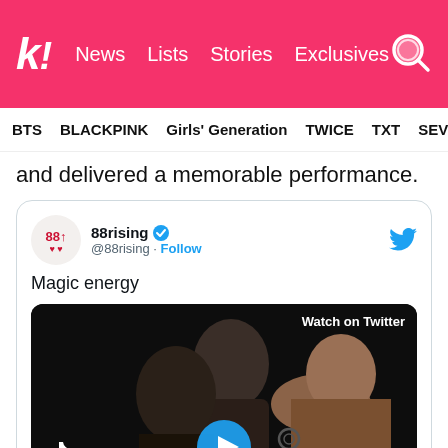k! News  Lists  Stories  Exclusives
BTS  BLACKPINK  Girls' Generation  TWICE  TXT  SEVE
and delivered a memorable performance.
[Figure (screenshot): Embedded tweet from @88rising with text 'Magic energy' and a video thumbnail showing two performers with 'Watch on Twitter' overlay. TikTok logo and play button visible.]